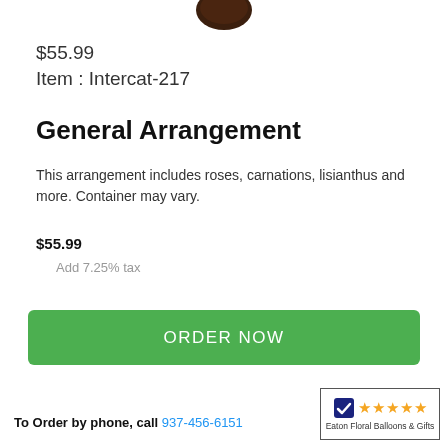[Figure (photo): Partial view of a dark floral arrangement from above, cropped at the top of the page]
$55.99
Item : Intercat-217
General Arrangement
This arrangement includes roses, carnations, lisianthus and more. Container may vary.
$55.99
Add 7.25% tax
ORDER NOW
To Order by phone, call 937-456-6151
[Figure (logo): Eaton Floral Balloons & Gifts rating badge with 5 gold stars and a checkmark logo]